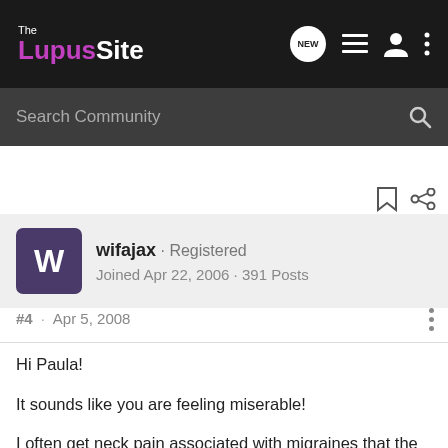The LupusSite
Search Community
wifajax · Registered
Joined Apr 22, 2006 · 391 Posts
#4 · Apr 5, 2008
Hi Paula!

It sounds like you are feeling miserable!

I often get neck pain associated with migraines that the neuro can't explain. It feels like my neck is going to snap if I bend it in